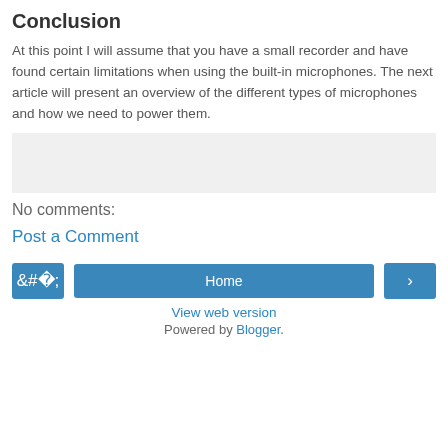Conclusion
At this point I will assume that you have a small recorder and have found certain limitations when using the built-in microphones. The next article will present an overview of the different types of microphones and how we need to power them.
[Figure (other): Gray placeholder box (advertisement or image area)]
No comments:
Post a Comment
‹  Home  ›
View web version
Powered by Blogger.